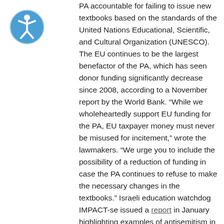[Figure (logo): Accessibility icon: blue circle with white stick figure person with arms raised]
PA accountable for failing to issue new textbooks based on the standards of the United Nations Educational, Scientific, and Cultural Organization (UNESCO). The EU continues to be the largest benefactor of the PA, which has seen donor funding significantly decrease since 2008, according to a November report by the World Bank. “While we wholeheartedly support EU funding for the PA, EU taxpayer money must never be misused for incitement,” wrote the lawmakers. “We urge you to include the possibility of a reduction of funding in case the PA continues to refuse to make the necessary changes in the textbooks.” Israeli education watchdog IMPACT-se issued a report in January highlighting examples of antisemitism in the PA’s curriculum for the 2021-2022 school year, including study cards for 11th graders that accuse Jews of being “in control of global